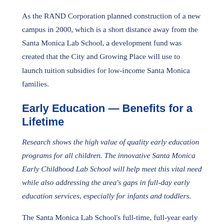As the RAND Corporation planned construction of a new campus in 2000, which is a short distance away from the Santa Monica Lab School, a development fund was created that the City and Growing Place will use to launch tuition subsidies for low-income Santa Monica families.
Early Education — Benefits for a Lifetime
Research shows the high value of quality early education programs for all children. The innovative Santa Monica Early Childhood Lab School will help meet this vital need while also addressing the area's gaps in full-day early education services, especially for infants and toddlers.
The Santa Monica Lab School's full-time, full-year early